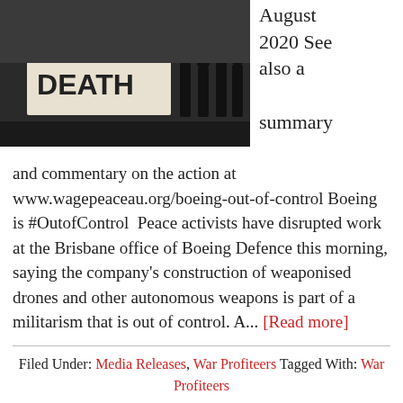[Figure (photo): Protest scene with banner reading 'OF DEATH' and people holding signs outside what appears to be an office building.]
August 2020 See also a summary
and commentary on the action at www.wagepeaceau.org/boeing-out-of-control Boeing is #OutofControl  Peace activists have disrupted work at the Brisbane office of Boeing Defence this morning, saying the company's construction of weaponised drones and other autonomous weapons is part of a militarism that is out of control. A... [Read more]
Filed Under: Media Releases, War Profiteers  Tagged With: War Profiteers